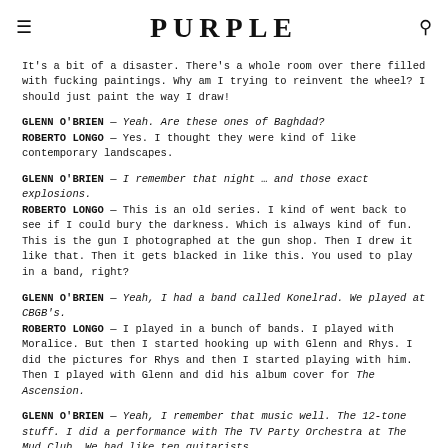PURPLE
It's a bit of a disaster. There's a whole room over there filled with fucking paintings. Why am I trying to reinvent the wheel? I should just paint the way I draw!
GLENN O'BRIEN — Yeah. Are these ones of Baghdad?
ROBERTO LONGO — Yes. I thought they were kind of like contemporary landscapes.
GLENN O'BRIEN — I remember that night … and those exact explosions.
ROBERTO LONGO — This is an old series. I kind of went back to see if I could bury the darkness. Which is always kind of fun. This is the gun I photographed at the gun shop. Then I drew it like that. Then it gets blacked in like this. You used to play in a band, right?
GLENN O'BRIEN — Yeah, I had a band called Konelrad. We played at CBGB's.
ROBERTO LONGO — I played in a bunch of bands. I played with Moralice. But then I started hooking up with Glenn and Rhys. I did the pictures for Rhys and then I started playing with him. Then I played with Glenn and did his album cover for The Ascension.
GLENN O'BRIEN — Yeah, I remember that music well. The 12-tone stuff. I did a performance with The TV Party Orchestra at The Mud Club. We had like ten guitarists